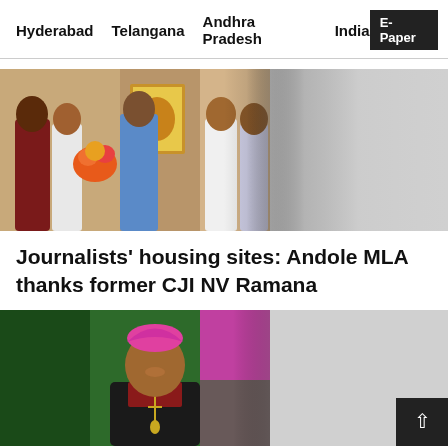Hyderabad   Telangana   Andhra Pradesh   India   E-Paper
[Figure (photo): Group photo of people presenting a framed portrait/painting with flowers, standing in an indoor setting]
Journalists' housing sites: Andole MLA thanks former CJI NV Ramana
[Figure (photo): Portrait of a smiling Catholic bishop wearing black vestments and a pink/magenta zucchetto (bishop's cap), with a green background]